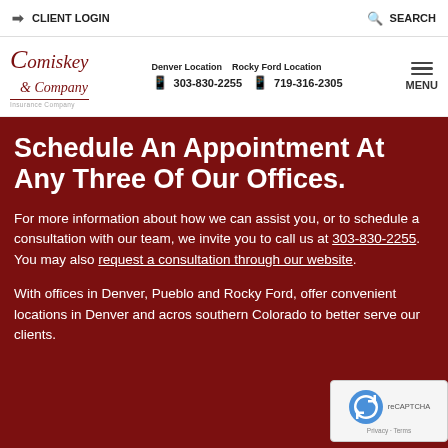CLIENT LOGIN   SEARCH
Comiskey & Company — Denver Location 303-830-2255  Rocky Ford Location 719-316-2305
Schedule An Appointment At Any Three Of Our Offices.
For more information about how we can assist you, or to schedule a consultation with our team, we invite you to call us at 303-830-2255. You may also request a consultation through our website.
With offices in Denver, Pueblo and Rocky Ford, offer convenient locations in Denver and across southern Colorado to better serve our clients.